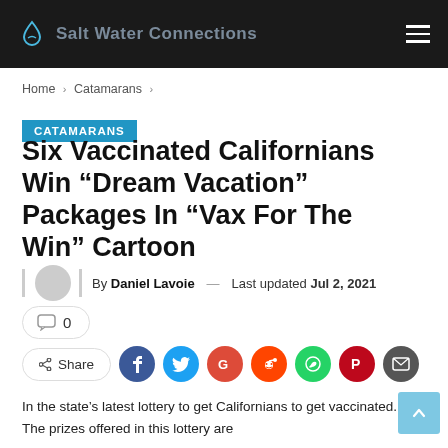Salt Water Connections
Home > Catamarans >
CATAMARANS
Six Vaccinated Californians Win “Dream Vacation” Packages In “Vax For The Win” Cartoon
By Daniel Lavoie — Last updated Jul 2, 2021
0
Share
In the state’s latest lottery to get Californians to get vaccinated. The prizes offered in this lottery are